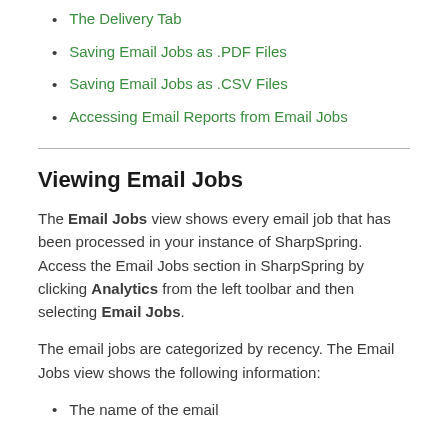The Delivery Tab
Saving Email Jobs as .PDF Files
Saving Email Jobs as .CSV Files
Accessing Email Reports from Email Jobs
Viewing Email Jobs
The Email Jobs view shows every email job that has been processed in your instance of SharpSpring. Access the Email Jobs section in SharpSpring by clicking Analytics from the left toolbar and then selecting Email Jobs.
The email jobs are categorized by recency. The Email Jobs view shows the following information:
The name of the email